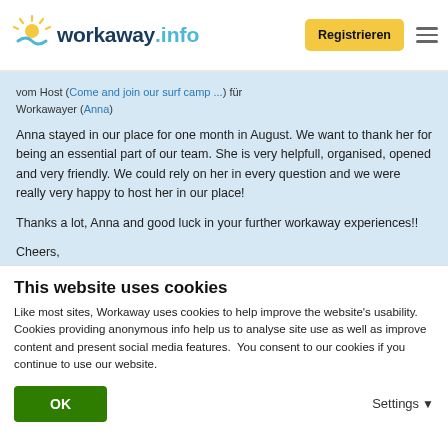workaway.info — Registrieren
vom Host (Come and join our surf camp ...) für Workawayer (Anna)
Anna stayed in our place for one month in August. We want to thank her for being an essential part of our team. She is very helpfull, organised, opened and very friendly. We could rely on her in every question and we were really very happy to host her in our place!

Thanks a lot, Anna and good luck in your further workaway experiences!!

Cheers,
This website uses cookies
Like most sites, Workaway uses cookies to help improve the website's usability. Cookies providing anonymous info help us to analyse site use as well as improve content and present social media features.  You consent to our cookies if you continue to use our website.
OK
Settings